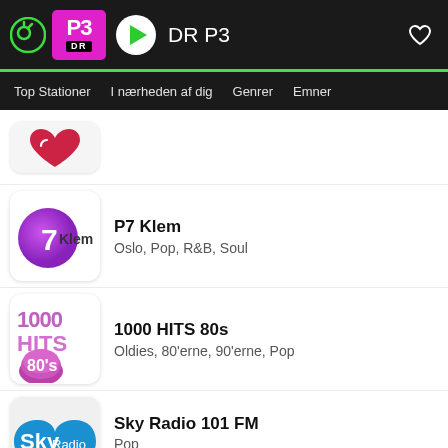[Figure (screenshot): App top bar with logo, DR P3 badge, play button, station name 'DR P3', and heart icon]
Top Stationer  I nærheden af dig  Genrer  Emner
[Figure (logo): Partially visible station logo (top of page, cut off)]
P7 Klem
Oslo, Pop, R&B, Soul
1000 HITS 80s
Oldies, 80'erne, 90'erne, Pop
Sky Radio 101 FM
Pop
Ed Sheeran - Visiting Hours
100 FM